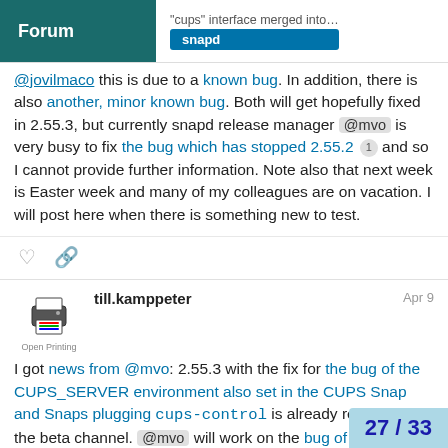Forum | "cups" interface merged into… snapd
@jovilmaco this is due to a known bug. In addition, there is also another, minor known bug. Both will get hopefully fixed in 2.55.3, but currently snapd release manager @mvo is very busy to fix the bug which has stopped 2.55.2 1 and so I cannot provide further information. Note also that next week is Easter week and many of my colleagues are on vacation. I will post here when there is something new to test.
till.kamppeter Apr 9
I got news from @mvo: 2.55.3 with the fix for the bug of the CUPS_SERVER environment also set in the CUPS Snap and Snaps plugging cups-control is already released into the beta channel. @mvo will work on the bug of environment variables in Snaps persisting through restarts at the beginning of next week.
27 / 33